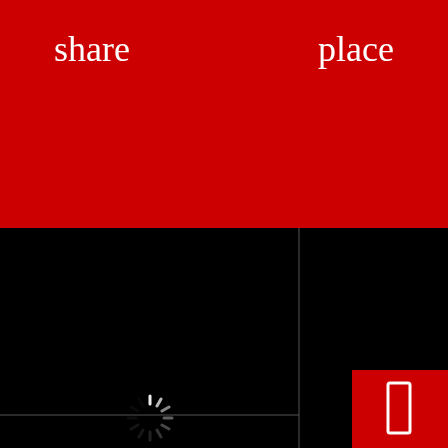share   place   call
menu
[Figure (screenshot): Mobile app UI screenshot showing a red navigation header bar with 'share', 'place', and 'call' links, a 'menu' button in the top right, and black content panels below with a loading spinner in the center panel. A small red button with a white rectangle icon appears in the bottom right corner.]